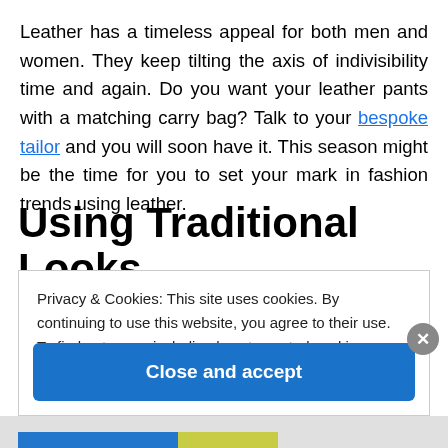Leather has a timeless appeal for both men and women. They keep tilting the axis of indivisibility time and again. Do you want your leather pants with a matching carry bag? Talk to your bespoke tailor and you will soon have it. This season might be the time for you to set your mark in fashion trends using leather.
Using Traditional Looks
Privacy & Cookies: This site uses cookies. By continuing to use this website, you agree to their use.
To find out more, including how to control cookies, see here: Cookie Policy.
Close and accept